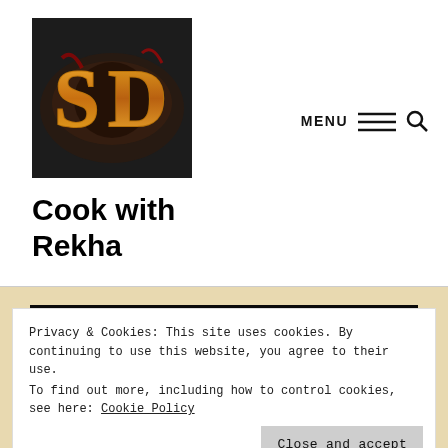[Figure (logo): SD logo on dark food background — circular bowl with orange/gold stylized SD letters]
Cook with Rekha
MENU
[Figure (photo): Dark food photograph showing ingredients on a dark background]
Privacy & Cookies: This site uses cookies. By continuing to use this website, you agree to their use.
To find out more, including how to control cookies, see here: Cookie Policy
Close and accept